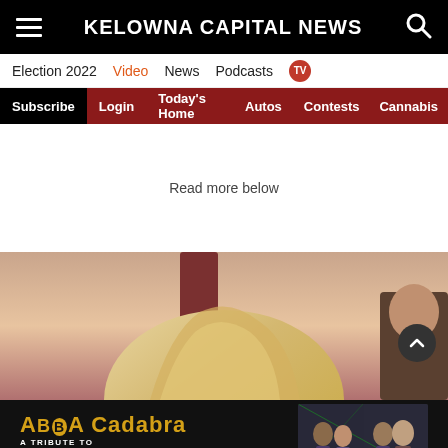KELOWNA CAPITAL NEWS
Election 2022  Video  News  Podcasts  TV
Subscribe  Login  Today's Home  Autos  Contests  Cannabis
Read more below
[Figure (photo): Close-up of a blonde woman outdoors with a warm sunset background and another person partially visible at right]
[Figure (photo): ABBA Cadabra - A Tribute to the Music of ABBA advertisement banner showing the band members]